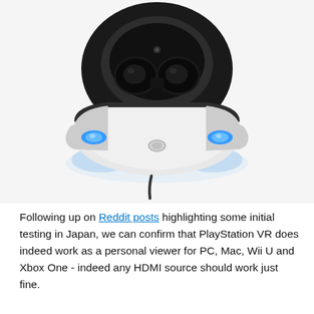[Figure (photo): Top-down view of a PlayStation VR headset showing two black eyepiece lenses inside a white and black headset with blue LED accent lights on either side, photographed against a white background.]
Following up on Reddit posts highlighting some initial testing in Japan, we can confirm that PlayStation VR does indeed work as a personal viewer for PC, Mac, Wii U and Xbox One - indeed any HDMI source should work just fine.